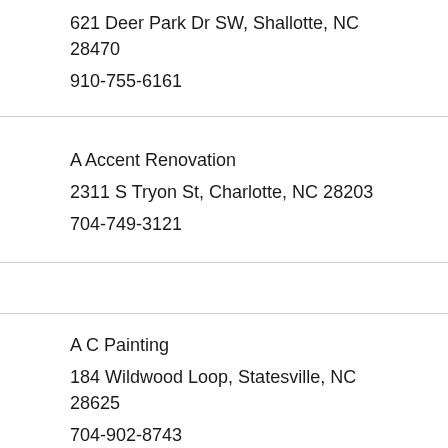621 Deer Park Dr SW, Shallotte, NC 28470
910-755-6161
A Accent Renovation
2311 S Tryon St, Charlotte, NC 28203
704-749-3121
A C Painting
184 Wildwood Loop, Statesville, NC 28625
704-902-8743